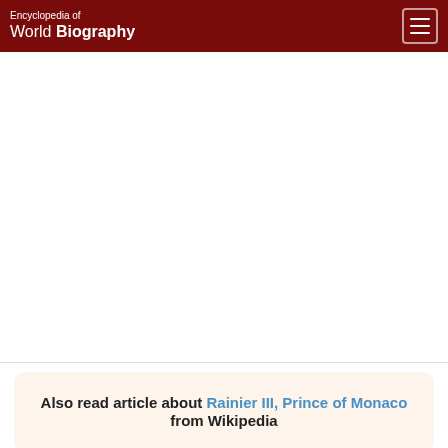Encyclopedia of World Biography
[Figure (other): Advertisement area (blank white space)]
Also read article about Rainier III, Prince of Monaco from Wikipedia